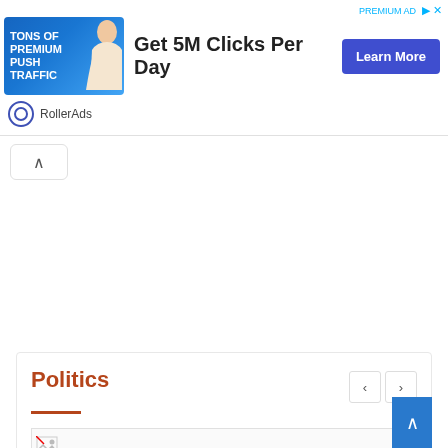[Figure (illustration): Advertisement banner: RollerAds ad showing 'TONS OF PREMIUM PUSH TRAFFIC' with a woman image, text 'Get 5M Clicks Per Day', and a blue 'Learn More' button. RollerAds logo and name at bottom.]
^
Politics
[Figure (illustration): Article thumbnail image placeholder with broken image icon]